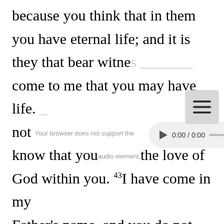because you think that in them you have eternal life; and it is they that bear witness... come to me that you may have life. ...not receive glory from people. But I know that you do not have the love of God within you. 43 I have come in my Father's name, and you do not receive me. If another comes in his own name, you will receive him. 44 How can you believe, when you receive glory from one another...
[Figure (other): HTML5 audio player overlay showing 0:00 / 0:00 with play button, progress bar, volume icon, and options dots. A menu/hamburger icon box appears to the right. Browser warning text overlaid on the Bible passage text.]